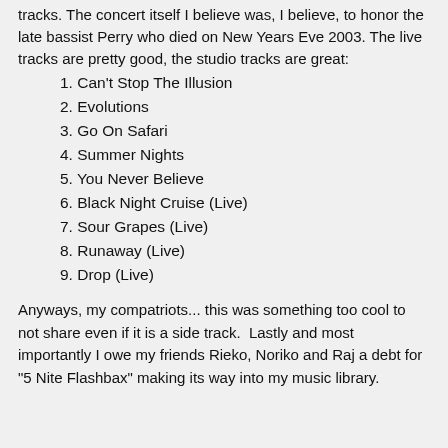tracks. The concert itself I believe was, I believe, to honor the late bassist Perry who died on New Years Eve 2003. The live tracks are pretty good, the studio tracks are great:
1. Can't Stop The Illusion
2. Evolutions
3. Go On Safari
4. Summer Nights
5. You Never Believe
6. Black Night Cruise (Live)
7. Sour Grapes (Live)
8. Runaway (Live)
9. Drop (Live)
Anyways, my compatriots... this was something too cool to not share even if it is a side track.  Lastly and most importantly I owe my friends Rieko, Noriko and Raj a debt for "5 Nite Flashbax" making its way into my music library.